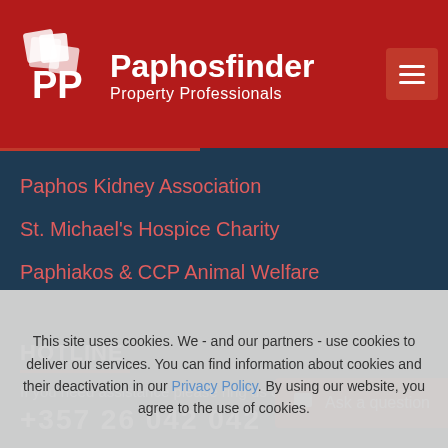Paphosfinder Property Professionals
Paphos Kidney Association
St. Michael's Hospice Charity
Paphiakos & CCP Animal Welfare
HOTLINE
If you need assistance please ring us on:
+357 26 042 042
Ask a question
This site uses cookies. We - and our partners - use cookies to deliver our services. You can find information about cookies and their deactivation in our Privacy Policy. By using our website, you agree to the use of cookies.
Close